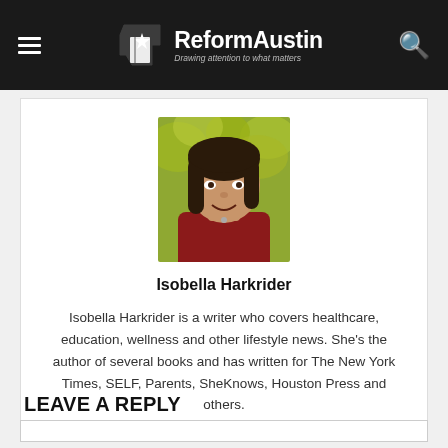ReformAustin — Drawing attention to what matters
[Figure (photo): Headshot photo of Isobella Harkrider, a woman with long dark hair wearing a dark red top, smiling, with yellow/green foliage in the background.]
Isobella Harkrider
Isobella Harkrider is a writer who covers healthcare, education, wellness and other lifestyle news. She's the author of several books and has written for The New York Times, SELF, Parents, SheKnows, Houston Press and others.
LEAVE A REPLY